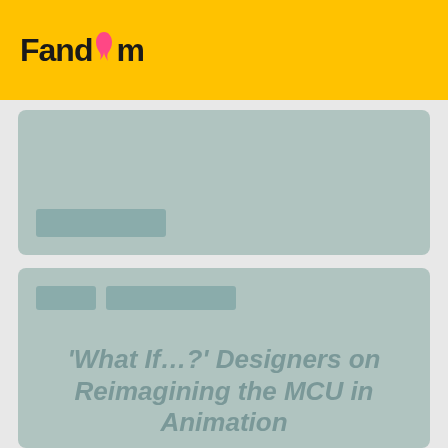[Figure (logo): Fandom logo with flame icon on yellow background header bar]
[Figure (other): Gray-blue placeholder card with a darker gray rectangle at the bottom left]
[Figure (other): Gray-blue placeholder card with two tag placeholders at top and title text reading: 'What If...?' Designers on Reimagining the MCU in Animation]